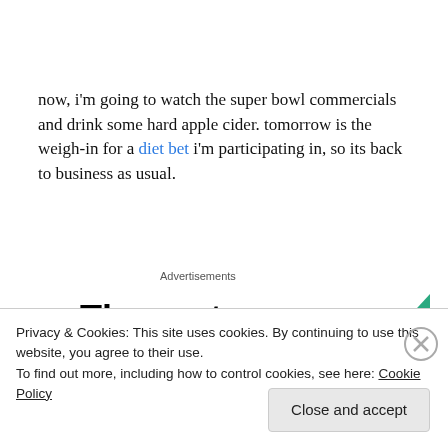now, i'm going to watch the super bowl commercials and drink some hard apple cider.  tomorrow is the weigh-in for a diet bet i'm participating in, so its back to business as usual.
Advertisements
[Figure (other): Advertisement banner showing 'The go-to app for podcast' text with a green triangle logo]
Privacy & Cookies: This site uses cookies. By continuing to use this website, you agree to their use.
To find out more, including how to control cookies, see here: Cookie Policy
Close and accept